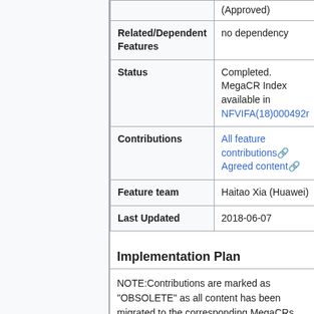|  |  |
| --- | --- |
|  | (Approved) |
| Related/Dependent Features | no dependency |
| Status | Completed. MegaCR Index available in NFVIFA(18)000492r |
| Contributions | All feature contributions Agreed content  |
| Feature team | Haitao Xia (Huawei) |
| Last Updated | 2018-06-07 |
Implementation Plan
NOTE:Contributions are marked as "OBSOLETE" as all content has been migrated to the corresponding MegaCRs.